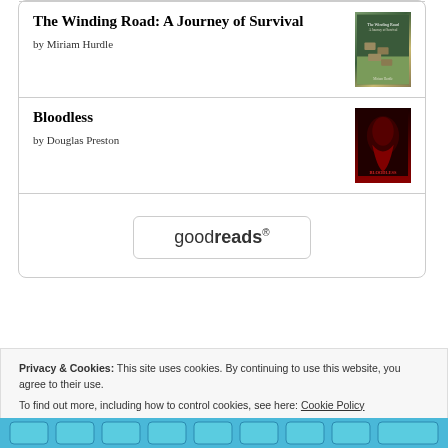The Winding Road: A Journey of Survival
by Miriam Hurdle
[Figure (illustration): Book cover of The Winding Road: A Journey of Survival showing a stone path through nature]
Bloodless
by Douglas Preston
[Figure (illustration): Book cover of Bloodless showing dark red atmospheric imagery]
[Figure (logo): Goodreads logo button with rounded rectangle border]
Privacy & Cookies: This site uses cookies. By continuing to use this website, you agree to their use.
To find out more, including how to control cookies, see here: Cookie Policy
Close and accept
[Figure (photo): Blue keyboard keys at the bottom of the page]